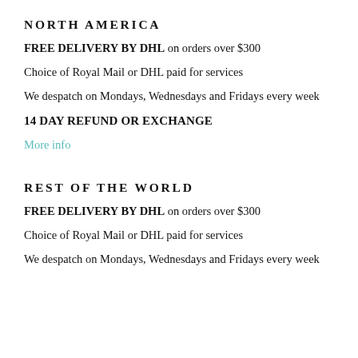NORTH AMERICA
FREE DELIVERY BY DHL on orders over $300
Choice of Royal Mail or DHL paid for services
We despatch on Mondays, Wednesdays and Fridays every week
14 DAY REFUND OR EXCHANGE
More info
REST OF THE WORLD
FREE DELIVERY BY DHL on orders over $300
Choice of Royal Mail or DHL paid for services
We despatch on Mondays, Wednesdays and Fridays every week